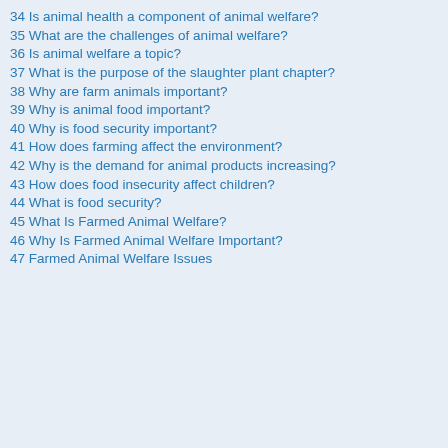34 Is animal health a component of animal welfare?
35 What are the challenges of animal welfare?
36 Is animal welfare a topic?
37 What is the purpose of the slaughter plant chapter?
38 Why are farm animals important?
39 Why is animal food important?
40 Why is food security important?
41 How does farming affect the environment?
42 Why is the demand for animal products increasing?
43 How does food insecurity affect children?
44 What is food security?
45 What Is Farmed Animal Welfare?
46 Why Is Farmed Animal Welfare Important?
47 Farmed Animal Welfare Issues